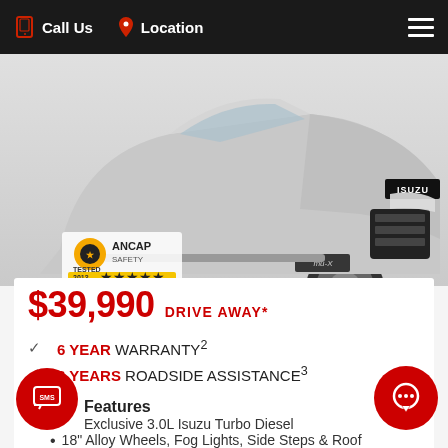Call Us  Location
[Figure (photo): Silver Isuzu MU-X SUV front three-quarter view with ANCAP Safety 5-star rating badge (Tested 2013)]
$39,990 DRIVE AWAY*
6 YEAR WARRANTY²
6 YEARS ROADSIDE ASSISTANCE³
Features
Exclusive 3.0L Isuzu Turbo Diesel
18" Alloy Wheels, Fog Lights, Side Steps & Roof